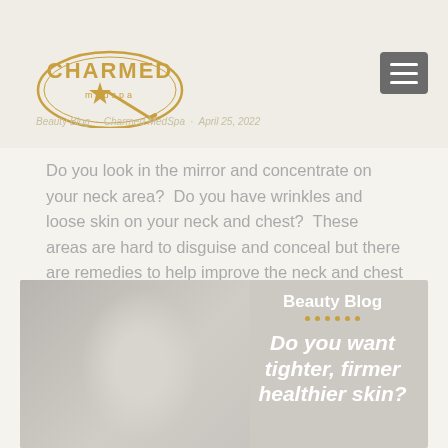Rejuvenation And Anti-Aging Of The Neck and
[Figure (logo): Charmed Medspa logo — circular gold emblem with star and wand]
Beauty Blog · Charmed MedSpa · April 25, 2022
Do you look in the mirror and concentrate on your neck area?  Do you have wrinkles and loose skin on your neck and chest?  These areas are hard to disguise and conceal but there are remedies to help improve the neck and chest area and to undo the damage. The neck area can be one…
[Figure (photo): Banner image with woman touching face on left, text overlay on right reading 'Beauty Blog' with dots and 'Do you want tighter, firmer healthier skin?' in bold italic white text]